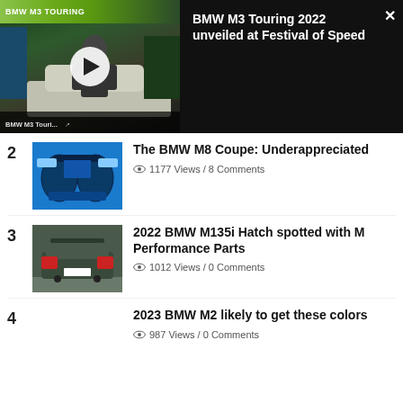[Figure (screenshot): BMW M3 Touring 2022 unveiled at Festival of Speed video thumbnail with play button and dark info panel]
2 - The BMW M8 Coupe: Underappreciated - 1177 Views / 8 Comments
3 - 2022 BMW M135i Hatch spotted with M Performance Parts - 1012 Views / 0 Comments
4 - 2023 BMW M2 likely to get these colors - 987 Views / 0 Comments